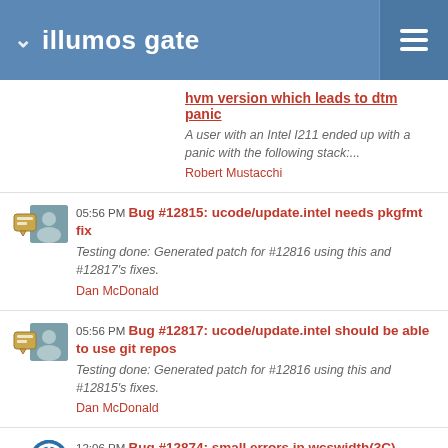illumos gate
hvm version which leads to dtm panic
A user with an Intel I211 ended up with a panic with the following stack:...
Robert Mustacchi
05:56 PM Bug #12815: ucode/update.intel needs pkgfmt fix
Testing done: Generated patch for #12816 using this and #12817's fixes.
Dan McDonald
05:56 PM Bug #12817: ucode/update.intel should be able to use git repos
Testing done: Generated patch for #12816 using this and #12815's fixes.
Dan McDonald
12:06 PM Bug #12874: small errors in wcswidth(3C)
That paragraph also needs to be moved from RETURN ...